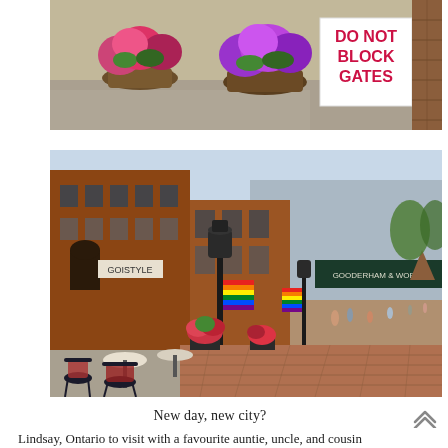[Figure (photo): Outdoor photo showing potted flower arrangements with colorful blooms (pink, purple, red) and a white sign with red text reading 'DO NOT BLOCK GATES'. Brick wall visible on the right edge.]
[Figure (photo): Street-level photo of the Distillery District in Toronto, Ontario. Brick buildings on the left with a GoStyle sign, rainbow Pride flags hanging on storefronts, a black lamp post in the center, outdoor cafe furniture (wrought iron chairs and round tables) in the foreground, and a long brick-paved pedestrian street receding into the distance. A Gooderham & Worts sign visible on a bridge/building in the background. Crowds of people walking in the distance.]
New day, new city?
Lindsay, Ontario to visit with a favourite auntie, uncle, and cousin